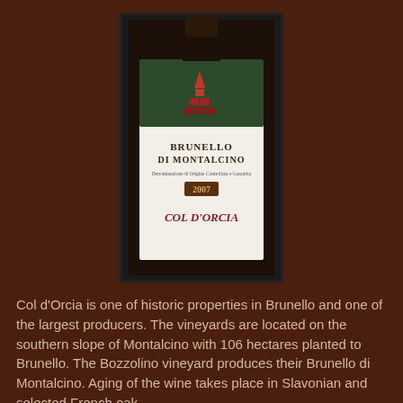[Figure (photo): Wine bottle of Col d'Orcia Brunello di Montalcino 2007 with white label showing the brand name and a pyramid/tower logo on dark background]
Col d'Orcia is one of historic properties in Brunello and one of the largest producers. The vineyards are located on the southern slope of Montalcino with 106 hectares planted to Brunello. The Bozzolino vineyard produces their Brunello di Montalcino. Aging of the wine takes place in Slavonian and selected French oak.
2007 Col d'Orcia Brunello di Montalcino – The nose showed vibrant, lush red fruits, spices and herbs. On the palate, it was round yet focused with intense ripe cherry and spice notes. The finish was cut short by youthful tannins yet